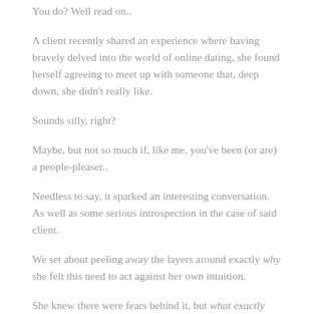You do? Well read on..
A client recently shared an experience where having bravely delved into the world of online dating, she found herself agreeing to meet up with someone that, deep down, she didn't really like.
Sounds silly, right?
Maybe, but not so much if, like me, you've been (or are) a people-pleaser..
Needless to say, it sparked an interesting conversation. As well as some serious introspection in the case of said client.
We set about peeling away the layers around exactly why she felt this need to act against her own intuition.
She knew there were fears behind it, but what exactly were they?